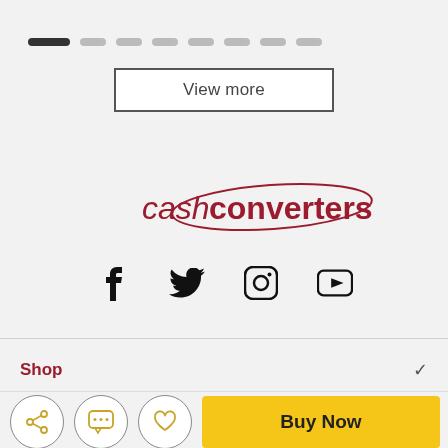[Figure (screenshot): Pagination dots row with one active dark dot and several lighter grey dots]
View more
[Figure (logo): Cash Converters logo in dark red/maroon with italic 'cash' and bold 'converters' with an oval around the 'C']
[Figure (infographic): Social media icons: Facebook, Twitter, Instagram, YouTube]
Shop
[Figure (infographic): Bottom action bar with share icon, chat icon, heart/wishlist icon (all in circles), and a yellow 'Buy Now' button]